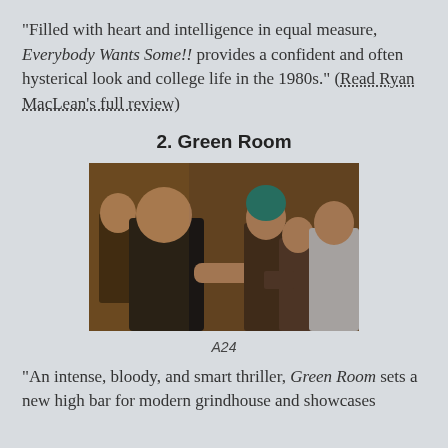“Filled with heart and intelligence in equal measure, Everybody Wants Some!! provides a confident and often hysterical look and college life in the 1980s.” (Read Ryan MacLean’s full review)
2. Green Room
[Figure (photo): A scene from the film Green Room showing several young people in a room, one in a black t-shirt facing others with teal/green hair and white shirts]
A24
“An intense, bloody, and smart thriller, Green Room sets a new high bar for modern grindhouse and showcases